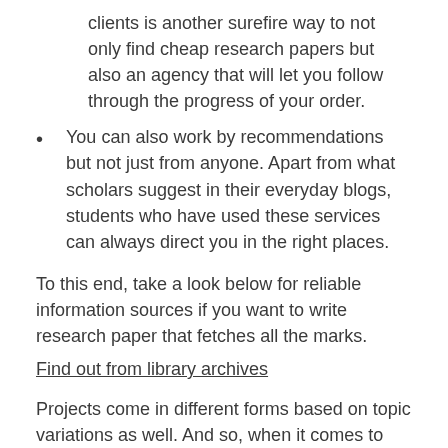clients is another surefire way to not only find cheap research papers but also an agency that will let you follow through the progress of your order.
You can also work by recommendations but not just from anyone. Apart from what scholars suggest in their everyday blogs, students who have used these services can always direct you in the right places.
To this end, take a look below for reliable information sources if you want to write research paper that fetches all the marks.
Find out from library archives
Projects come in different forms based on topic variations as well. And so, when it comes to handling research work like a scholar, it goes without saying having the right pieces of information sampled from your college library archives will never disappoint.